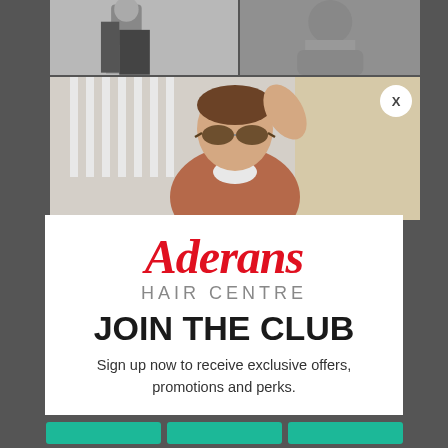[Figure (photo): Top-left black and white photo of a person in a jacket]
[Figure (photo): Top-right black and white photo of a bald man]
[Figure (photo): Large center color photo of a man wearing sunglasses and a rust/terracotta shirt, touching his hair, in front of a white fence and brick wall]
Aderans
HAIR CENTRE
JOIN THE CLUB
Sign up now to receive exclusive offers, promotions and perks.